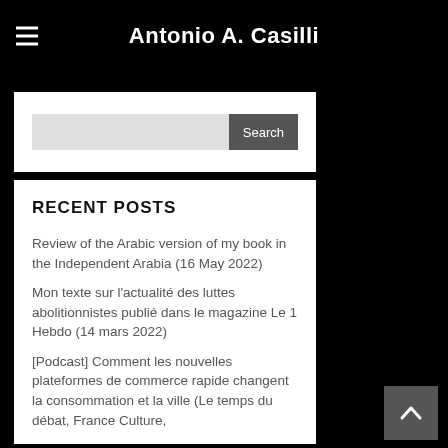Antonio A. Casilli
[Figure (screenshot): Search bar with text input field and Search button]
RECENT POSTS
Review of the Arabic version of my book in the Independent Arabia (16 May 2022)
Mon texte sur l'actualité des luttes abolitionnistes publié dans le magazine Le 1 Hebdo (14 mars 2022)
[Podcast] Comment les nouvelles plateformes de commerce rapide changent la consommation et la ville (Le temps du débat, France Culture,